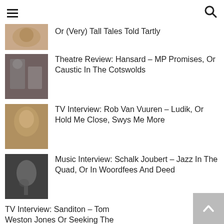Navigation header with hamburger menu and search icon
Or (Very) Tall Tales Told Tartly
Theatre Review: Hansard – MP Promises, Or Caustic In The Cotswolds
TV Interview: Rob Van Vuuren – Ludik, Or Hold Me Close, Swys Me More
Music Interview: Schalk Joubert – Jazz In The Quad, Or In Woordfees And Deed
TV Interview: Sanditon – Tom Weston Jones Or Seeking The...